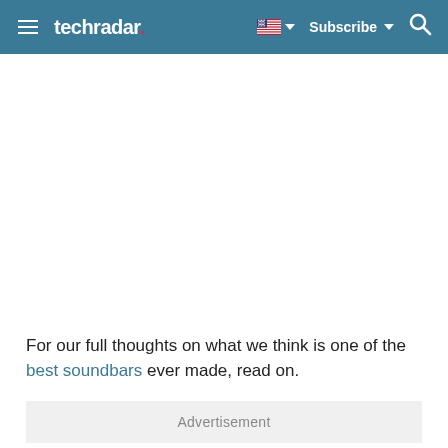techradar — Subscribe
For our full thoughts on what we think is one of the best soundbars ever made, read on.
Advertisement